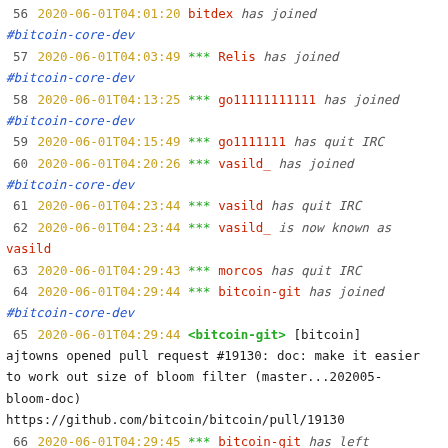56 2020-06-01T04:01:20  bitdex has joined #bitcoin-core-dev
57 2020-06-01T04:03:49  *** Relis has joined #bitcoin-core-dev
58 2020-06-01T04:13:25  *** go11111111111 has joined #bitcoin-core-dev
59 2020-06-01T04:15:49  *** go1111111 has quit IRC
60 2020-06-01T04:20:26  *** vasild_ has joined #bitcoin-core-dev
61 2020-06-01T04:23:44  *** vasild has quit IRC
62 2020-06-01T04:23:44  *** vasild_ is now known as vasild
63 2020-06-01T04:29:43  *** morcos has quit IRC
64 2020-06-01T04:29:44  *** bitcoin-git has joined #bitcoin-core-dev
65 2020-06-01T04:29:44  <bitcoin-git> [bitcoin] ajtowns opened pull request #19130: doc: make it easier to work out size of bloom filter (master...202005-bloom-doc)
https://github.com/bitcoin/bitcoin/pull/19130
66 2020-06-01T04:29:45  *** bitcoin-git has left #bitcoin-core-dev
67 2020-06-01T04:36:52  *** morcos has joined #bitcoin-core-dev
68 2020-06-01T04:40:12  *** proofofkeags has quit IRC
69 2020-06-01T04:41:49  *** dongcarl has quit IRC
70 2020-06-01T04:45:30  *** Emcy has quit IRC
71 2020-06-01T04:46:01  *** Emcy has joined #bitcoin-